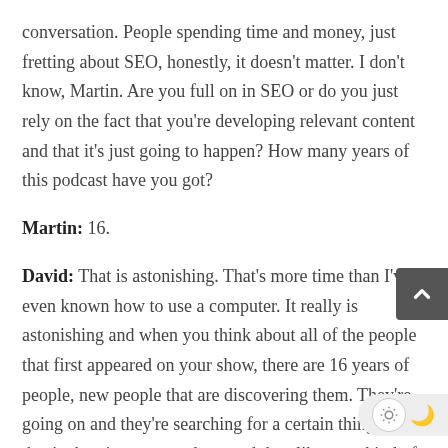conversation. People spending time and money, just fretting about SEO, honestly, it doesn't matter. I don't know, Martin. Are you full on in SEO or do you just rely on the fact that you're developing relevant content and that it's just going to happen? How many years of this podcast have you got?
Martin: 16.
David: That is astonishing. That's more time than I've even known how to use a computer. It really is astonishing and when you think about all of the people that first appeared on your show, there are 16 years of people, new people that are discovering them. They're going on and they're searching for a certain thing, or they're hearing your podcast and they like your kind of focus and